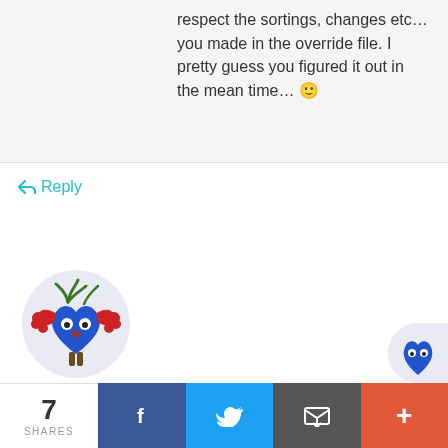respect the sortings, changes etc... you made in the override file. I pretty guess you figured it out in the mean time... 🙂
↩ Reply
[Figure (illustration): Circular avatar image of a cartoon creature: blue heart-shaped body with red crab-like claws, white eyes, green plant sprouts on top, and a brown tree trunk base, on a light purple-gray background.]
jake
14th August 2018
excellent plugin
was just wondering if in any future releases the
7 SHARES  [Facebook] [Twitter] [Email] [+]